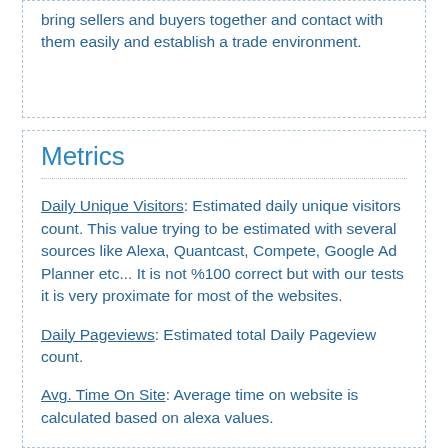bring sellers and buyers together and contact with them easily and establish a trade environment.
Metrics
Daily Unique Visitors: Estimated daily unique visitors count. This value trying to be estimated with several sources like Alexa, Quantcast, Compete, Google Ad Planner etc... It is not %100 correct but with our tests it is very proximate for most of the websites.
Daily Pageviews: Estimated total Daily Pageview count.
Avg. Time On Site: Average time on website is calculated based on alexa values.